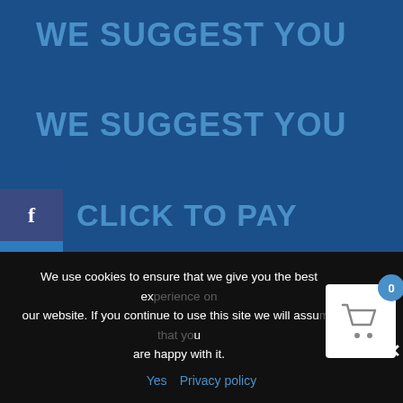WE SUGGEST YOU
WE SUGGEST YOU
CLICK TO PAY
[Figure (screenshot): Product image area showing a phone and credit card row on white background]
We use cookies to ensure that we give you the best experience on our website. If you continue to use this site we will assume that you are happy with it.
Yes
Privacy policy